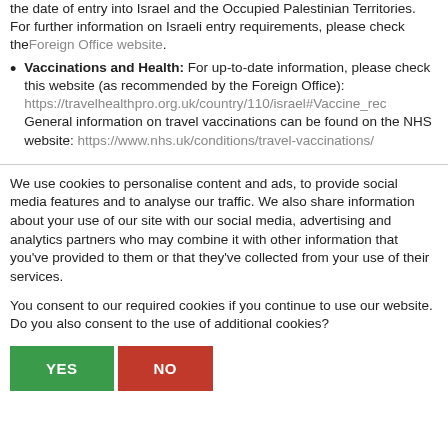the date of entry into Israel and the Occupied Palestinian Territories. For further information on Israeli entry requirements, please check the Foreign Office website.
Vaccinations and Health: For up-to-date information, please check this website (as recommended by the Foreign Office): https://travelhealthpro.org.uk/country/110/israel#Vaccine_rec General information on travel vaccinations can be found on the NHS website: https://www.nhs.uk/conditions/travel-vaccinations/
We use cookies to personalise content and ads, to provide social media features and to analyse our traffic. We also share information about your use of our site with our social media, advertising and analytics partners who may combine it with other information that you've provided to them or that they've collected from your use of their services.
You consent to our required cookies if you continue to use our website. Do you also consent to the use of additional cookies?